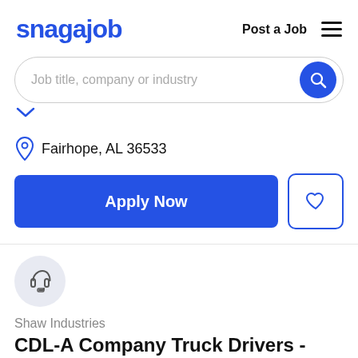snagajob | Post a Job
[Figure (screenshot): Search bar with placeholder text 'Job title, company or industry' and a blue circular search button]
Fairhope, AL 36533
Apply Now
[Figure (illustration): Company logo icon: headset/customer service icon in a light gray circle]
Shaw Industries
CDL-A Company Truck Drivers - 100% No-